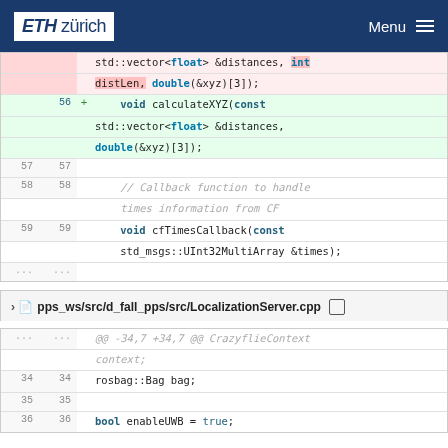ETH zürich  Menu
[Figure (screenshot): Code diff showing changes to calculateXYZ function signature removing int distLen parameter]
pps_ws/src/d_fall_pps/src/LocalizationServer.cpp
[Figure (screenshot): Code diff showing LocalizationServer.cpp with rosbag::Bag bag; bool enableUWB = true;]